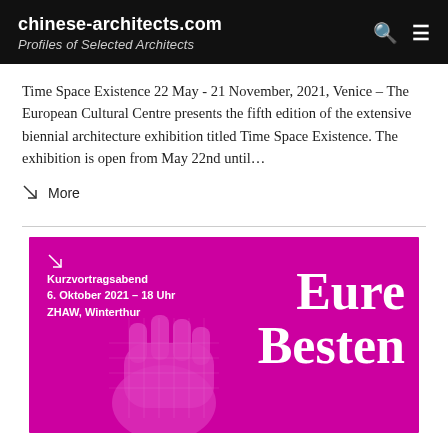chinese-architects.com Profiles of Selected Architects
Time Space Existence 22 May - 21 November, 2021, Venice – The European Cultural Centre presents the fifth edition of the extensive biennial architecture exhibition titled Time Space Existence. The exhibition is open from May 22nd until…
More
[Figure (photo): Magenta/pink promotional poster for 'Eure Besten' event at ZHAW Winterthur, Kurzvortragsabend 6. Oktober 2021 – 18 Uhr, with a fist illustration and large serif text.]